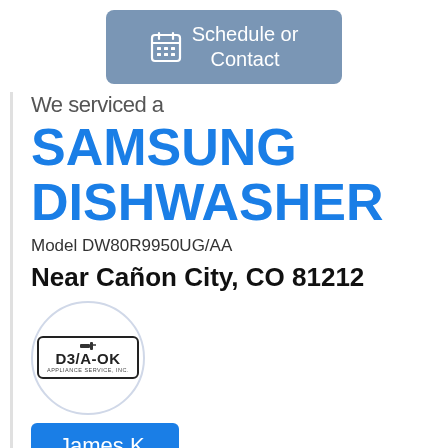[Figure (other): Blue-gray rounded rectangle button with calendar icon and text 'Schedule or Contact']
We serviced a
SAMSUNG DISHWASHER
Model DW80R9950UG/AA
Near Cañon City, CO 81212
[Figure (logo): D3/A-OK Appliance Service, Inc. logo inside a circle]
James K.